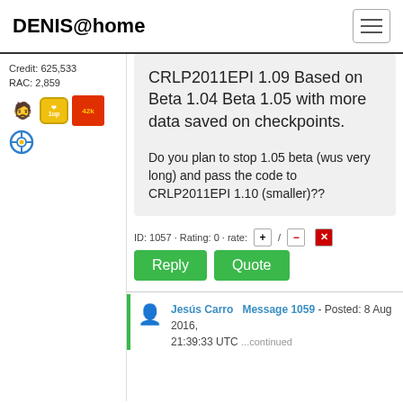DENIS@home
Credit: 625,533
RAC: 2,859
[Figure (illustration): Four badge icons: brown person silhouette, yellow heart 1up badge, red 42k badge, blue crosshair badge]
CRLP2011EPI 1.09 Based on Beta 1.04 Beta 1.05 with more data saved on checkpoints.
Do you plan to stop 1.05 beta (wus very long) and pass the code to CRLP2011EPI 1.10 (smaller)??
ID: 1057 · Rating: 0 · rate: +/-/x
Reply  Quote
Jesús Carro  Message 1059 - Posted: 8 Aug 2016, 21:39:33 UTC